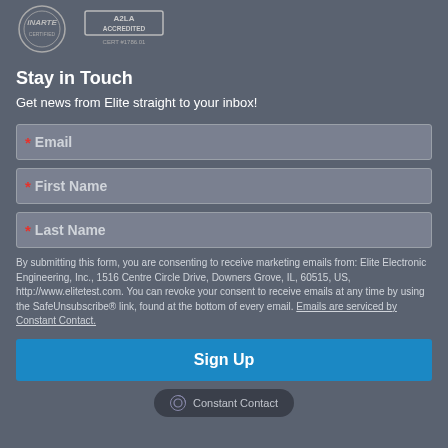[Figure (logo): INARTE and A2LA Accredited logos with CERT #1786.01]
Stay in Touch
Get news from Elite straight to your inbox!
* Email (input field)
* First Name (input field)
* Last Name (input field)
By submitting this form, you are consenting to receive marketing emails from: Elite Electronic Engineering, Inc., 1516 Centre Circle Drive, Downers Grove, IL, 60515, US, http://www.elitetest.com. You can revoke your consent to receive emails at any time by using the SafeUnsubscribe® link, found at the bottom of every email. Emails are serviced by Constant Contact.
Sign Up
[Figure (logo): Constant Contact badge/logo]